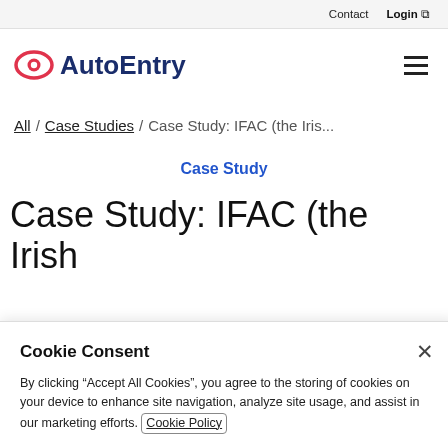Contact  Login
[Figure (logo): AutoEntry logo with eye icon in red/pink and navy text]
All / Case Studies / Case Study: IFAC (the Iris...
Case Study
Case Study: IFAC (the Irish
Cookie Consent

By clicking "Accept All Cookies", you agree to the storing of cookies on your device to enhance site navigation, analyze site usage, and assist in our marketing efforts. Cookie Policy